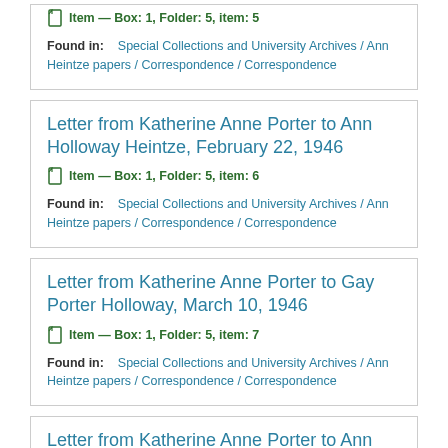Item — Box: 1, Folder: 5, item: 5
Found in: Special Collections and University Archives / Ann Heintze papers / Correspondence / Correspondence
Letter from Katherine Anne Porter to Ann Holloway Heintze, February 22, 1946
Item — Box: 1, Folder: 5, item: 6
Found in: Special Collections and University Archives / Ann Heintze papers / Correspondence / Correspondence
Letter from Katherine Anne Porter to Gay Porter Holloway, March 10, 1946
Item — Box: 1, Folder: 5, item: 7
Found in: Special Collections and University Archives / Ann Heintze papers / Correspondence / Correspondence
Letter from Katherine Anne Porter to Ann